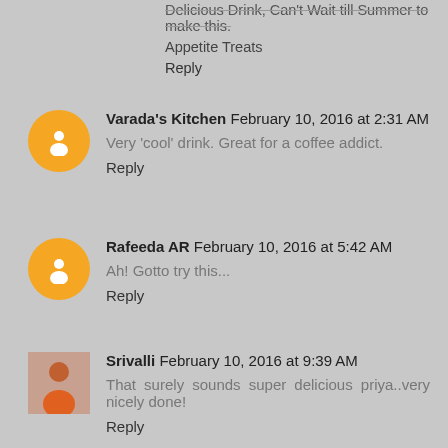Delicious Drink, Can't Wait till Summer to make this.
Appetite Treats
Reply
Varada's Kitchen  February 10, 2016 at 2:31 AM
Very 'cool' drink. Great for a coffee addict.
Reply
Rafeeda AR  February 10, 2016 at 5:42 AM
Ah! Gotto try this...
Reply
Srivalli  February 10, 2016 at 9:39 AM
That surely sounds super delicious priya..very nicely done!
Reply